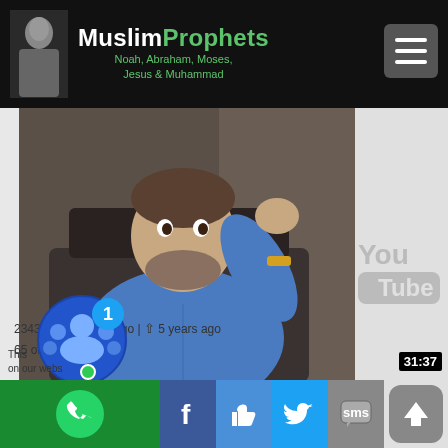MuslimProphets Noah, Abraham, Moses, Jesus & Muhammad
[Figure (screenshot): Man in blue shirt seated at desk, waving hand, with beard, in front of dark curtain background]
Apostle Paul was not a religious Jew. He corrupted the Jewish Bible - Tovia Singer
2343 views · 7 hrs ago | 5 years ago
65 of 192
[Figure (screenshot): Second video thumbnail showing windows/interior]
[Figure (logo): YouTube logo watermark, duration badge 31:37]
[Figure (infographic): Bottom social sharing toolbar with green, Facebook, thumbs up, Twitter, SMS, and upload buttons; social bubble with 1; WhatsApp icon; bottom text 'This ... on our webs']